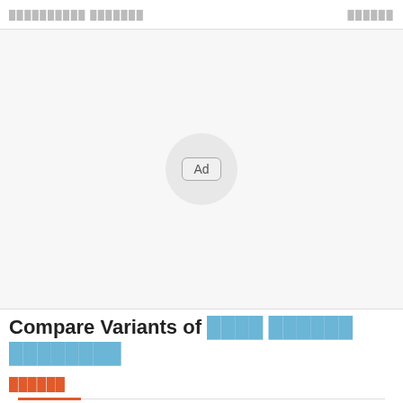██████████ ███████   ██████
[Figure (other): Advertisement placeholder area with a circular 'Ad' button in the center on a light gray background]
Compare Variants of ████ ██████ ████████
██████